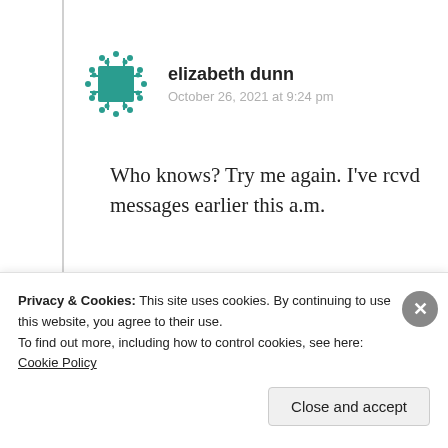[Figure (illustration): Teal/green pixel/chip icon avatar for user elizabeth dunn]
elizabeth dunn
October 26, 2021 at 9:24 pm
Who knows? Try me again. I've rcvd messages earlier this a.m.
★ Liked by 1 person
Log in to Reply
Privacy & Cookies: This site uses cookies. By continuing to use this website, you agree to their use.
To find out more, including how to control cookies, see here: Cookie Policy
Close and accept